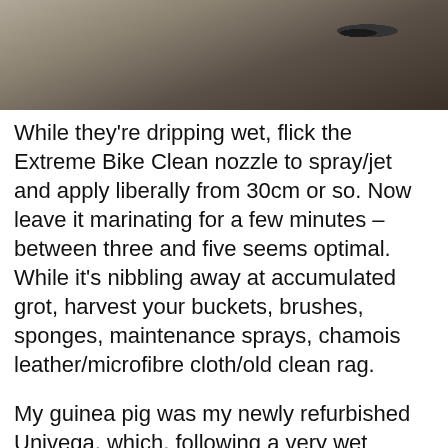[Figure (photo): Close-up photo of a bicycle component, dark metallic parts against a blurred background]
While they're dripping wet, flick the Extreme Bike Clean nozzle to spray/jet and apply liberally from 30cm or so. Now leave it marinating for a few minutes – between three and five seems optimal. While it's nibbling away at accumulated grot, harvest your buckets, brushes, sponges, maintenance sprays, chamois leather/microfibre cloth/old clean rag.
My guinea pig was my newly refurbished Univega, which, following a very wet fortnight's riding, was covered in a slimy cocktail of impacted dung, road spray, silt, residual chain lube and excess waxy frame preserve that had oozed from its breathe holes. On contact, the suds didn't l partic h the a jumb
[Figure (photo): Advertisement showing people sitting together outdoors, with text FIND A PLACE FOR TOGETHER and BOOK NOW button]